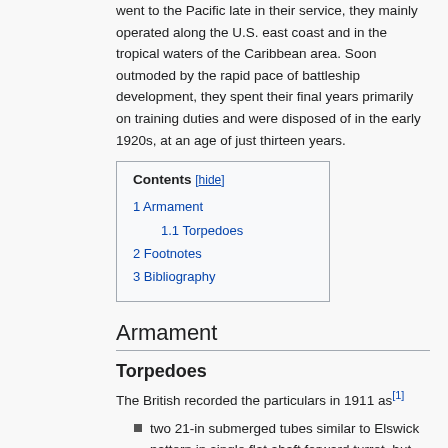went to the Pacific late in their service, they mainly operated along the U.S. east coast and in the tropical waters of the Caribbean area. Soon outmoded by the rapid pace of battleship development, they spent their final years primarily on training duties and were disposed of in the early 1920s, at an age of just thirteen years.
| Contents |
| --- |
| 1 Armament |
| 1.1 Torpedoes |
| 2 Footnotes |
| 3 Bibliography |
Armament
Torpedoes
The British recorded the particulars in 1911 as[1]
two 21-in submerged tubes similar to Elswick pattern in single flat abaft forward turret, but used 3.5-t...